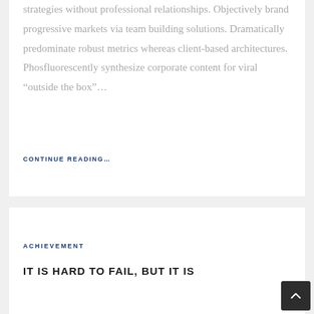strategies without professional relationships. Objectively brand progressive markets via team building solutions. Dramatically predominate robust metrics whereas client-based architectures. Phosfluorescently synthesize corporate content for viral “outside the box”…
CONTINUE READING…
ACHIEVEMENT
IT IS HARD TO FAIL, BUT IT IS